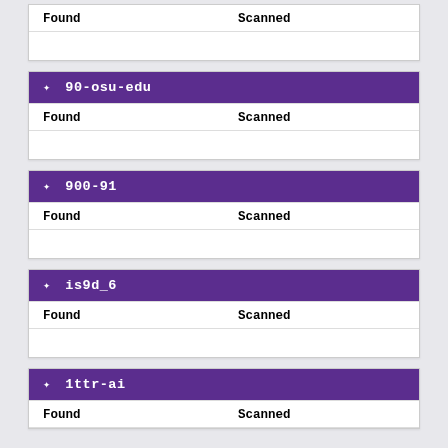| Found | Scanned |
| --- | --- |
|  |  |
| ✦ 90-osu-edu |
| --- |
| Found | Scanned |
|  |  |
| ✦ 900-91 |
| --- |
| Found | Scanned |
|  |  |
| ✦ is9d_6 |
| --- |
| Found | Scanned |
|  |  |
| ✦ 1ttr-ai |
| --- |
| Found | Scanned |